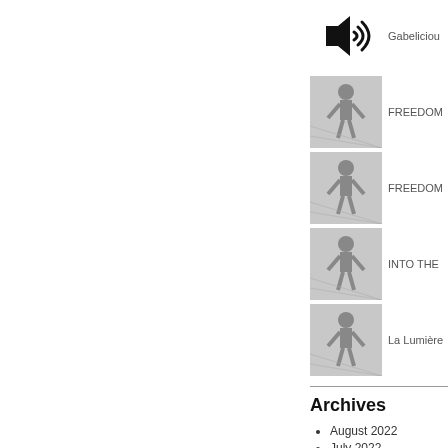[Figure (illustration): Audio/speaker icon (black speaker with sound waves)]
Gabeliciou
[Figure (photo): Grayscale thumbnail image showing a figure]
FREEDOM
[Figure (photo): Grayscale thumbnail image showing a figure]
FREEDOM
[Figure (photo): Grayscale thumbnail image showing a figure]
INTO THE
[Figure (photo): Grayscale thumbnail image showing a figure]
La Lumière
Archives
August 2022
July 2022
May 2022
February 2022
January 2022
December 2021